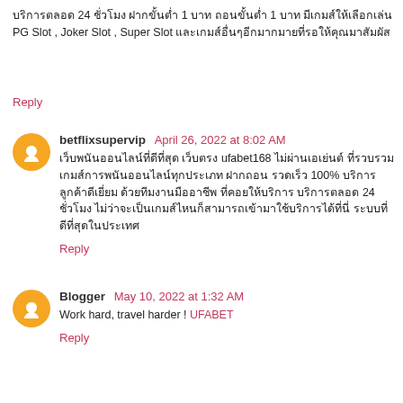บริการตลอด 24 ชั่วโมง ฝากขั้นต่ำ 1 บาท ถอนขั้นต่ำ 1 บาท มีเกมส์ให้เลือกเล่น PG Slot , Joker Slot , Super Slot และเกมส์อื่นๆอีกมากมายที่รอให้คุณมาสัมผัส
Reply
betflixsupervip  April 26, 2022 at 8:02 AM
เว็บพนันออนไลน์ที่ดีที่สุด เว็บตรง ufabet168 ไม่ผ่านเอเย่นต์ ที่รวบรวมเกมส์การพนันออนไลน์ทุกประเภท ฝากถอน รวดเร็ว 100% บริการลูกค้าดีเยี่ยม ด้วยทีมงานมืออาชีพ ที่คอยให้บริการ บริการตลอด 24 ชั่วโมง ไม่ว่าจะเป็นเกมส์ไหนก็สามารถเข้ามาใช้บริการได้ที่นี่ ระบบที่ดีที่สุดในประเทศ
Reply
Blogger  May 10, 2022 at 1:32 AM
Work hard, travel harder ! UFABET
Reply